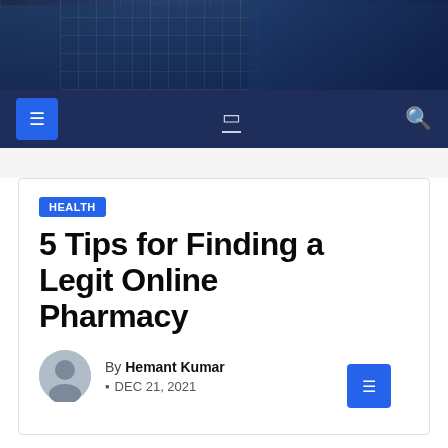[Figure (photo): Header banner with dark blue building/glass facade photo]
Navigation bar with menu icon, home icon, and search icon
HEALTH
5 Tips for Finding a Legit Online Pharmacy
By Hemant Kumar
DEC 21, 2021